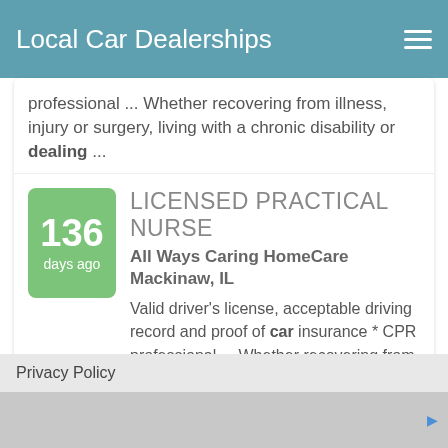Local Car Dealerships
professional ... Whether recovering from illness, injury or surgery, living with a chronic disability or dealing ...
136 days ago
LICENSED PRACTICAL NURSE
All Ways Caring HomeCare
Mackinaw, IL
Valid driver's license, acceptable driving record and proof of car insurance * CPR professional ... Whether recovering from illness, injury or surgery, living with a chronic disability or dealing ...
Job Search by ZipRecruiter
Privacy Policy